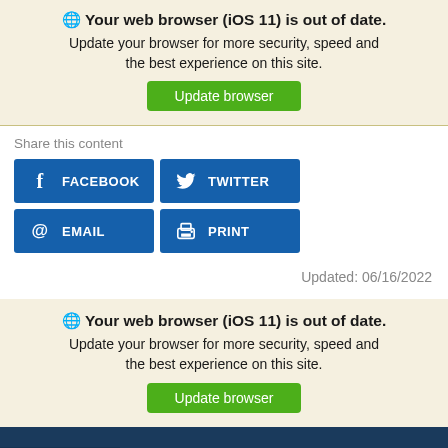🌐 Your web browser (iOS 11) is out of date. Update your browser for more security, speed and the best experience on this site. Update browser
Share this content
FACEBOOK
TWITTER
EMAIL
PRINT
Updated: 06/16/2022
🌐 Your web browser (iOS 11) is out of date. Update your browser for more security, speed and the best experience on this site. Update browser
[Figure (photo): Dark blue image strip at the bottom of the page showing a partial vehicle/aircraft scene]